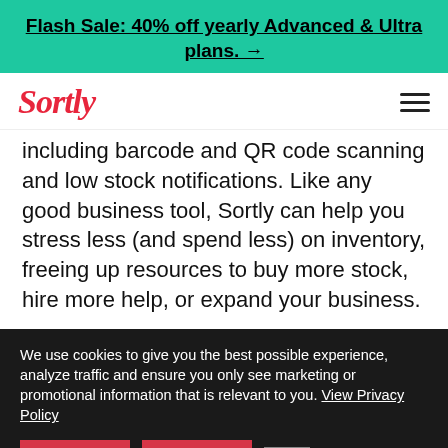Flash Sale: 40% off yearly Advanced & Ultra plans. →
[Figure (logo): Sortly logo in red italic script font with hamburger menu icon]
including barcode and QR code scanning and low stock notifications. Like any good business tool, Sortly can help you stress less (and spend less) on inventory, freeing up resources to buy more stock, hire more help, or expand your business.
We use cookies to give you the best possible experience, analyze traffic and ensure you only see marketing or promotional information that is relevant to you. View Privacy Policy